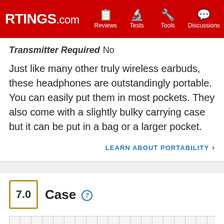RTINGS.com | Reviews | Tests | Tools | Discussions | Deals
Transmitter Required  No
Just like many other truly wireless earbuds, these headphones are outstandingly portable. You can easily put them in most pockets. They also come with a slightly bulky carrying case but it can be put in a bag or a larger pocket.
LEARN ABOUT PORTABILITY
7.0  Case
[Figure (photo): Photo of earbuds carrying case on a grid measurement background]